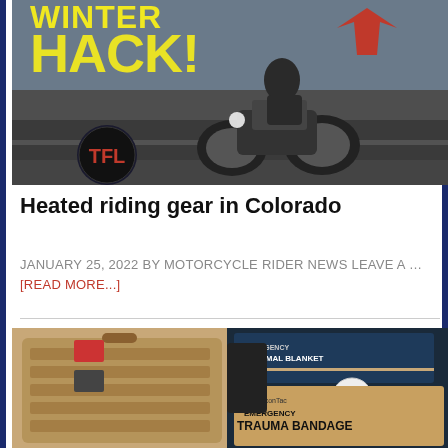[Figure (photo): Motorcycle riding in winter with yellow text overlay reading WINTER HACK! and TFL logo badge]
Heated riding gear in Colorado
JANUARY 25, 2022 BY MOTORCYCLE RIDER NEWS LEAVE A … [Read More...]
[Figure (photo): FalconTac Emergency Trauma Bandage and tactical gear bag with Emergency Thermal Blanket]